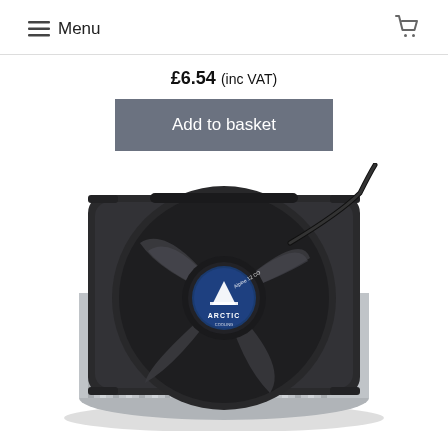Menu
£6.54 (inc VAT)
Add to basket
[Figure (photo): Arctic Alpine 12 CO CPU cooler with black fan blades and blue Arctic logo badge on a white background]